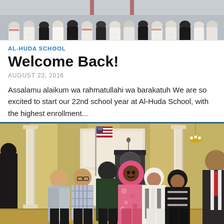[Figure (photo): Top photo showing rows of people in white shirts viewed from behind in what appears to be an auditorium or assembly]
AL-HUDA SCHOOL
Welcome Back!
AUGUST 23, 2016
Assalamu alaikum wa rahmatullahi wa barakatuh We are so excited to start our 22nd school year at Al-Huda School, with the highest enrollment...
[Figure (photo): Photo of group of children and adults posing inside what appears to be a White House room with American flag, podium, and ornate decor in background]